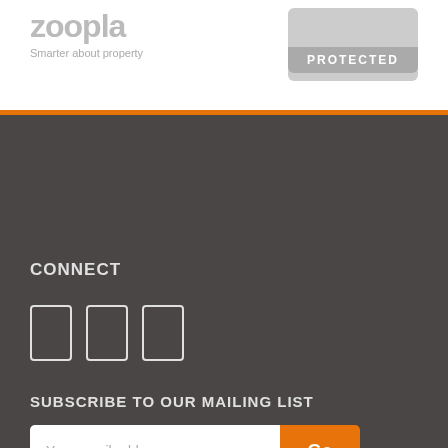[Figure (logo): Zoopla logo with tagline 'Smarter about property' in grey]
[Figure (other): Protected badge/seal in grey with 'PROTECTED' text]
CONNECT
[Figure (other): Three social media icon placeholders (outlined rectangles)]
SUBSCRIBE TO OUR MAILING LIST
Your email address
Go
CONTACT US
01494 870 633